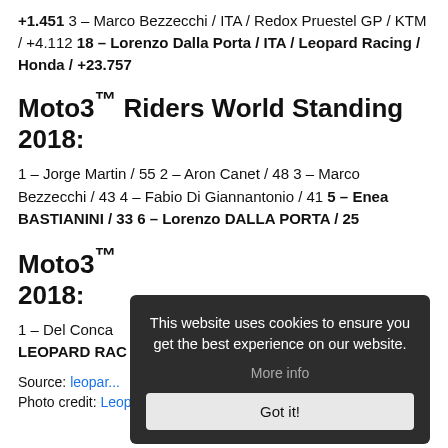+1.451 3 – Marco Bezzecchi / ITA / Redox Pruestel GP / KTM / +4.112 18 – Lorenzo Dalla Porta / ITA / Leopard Racing / Honda / +23.757
Moto3™ Riders World Standing 2018:
1 – Jorge Martin / 55 2 – Aron Canet / 48 3 – Marco Bezzecchi / 43 4 – Fabio Di Giannantonio / 41 5 – Enea BASTIANINI / 33 6 – Lorenzo DALLA PORTA / 25
Moto3™ 2018:
1 – Del Conca ... LEOPARD RAC...
[Figure (other): Cookie consent overlay popup with text 'This website uses cookies to ensure you get the best experience on our website.' with 'More info' and 'Got it!' buttons]
Source: leopar...
Photo credit: Leopard Racing